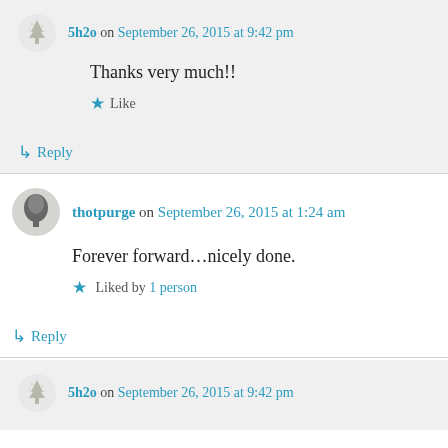5h2o on September 26, 2015 at 9:42 pm
Thanks very much!!
★ Like
↳ Reply
thotpurge on September 26, 2015 at 1:24 am
Forever forward…nicely done.
★ Liked by 1 person
↳ Reply
5h2o on September 26, 2015 at 9:42 pm